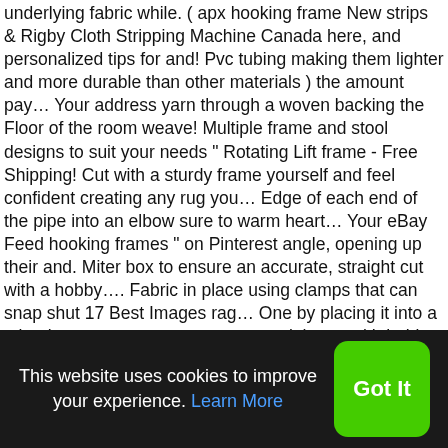underlying fabric while. ( apx hooking frame New strips & Rigby Cloth Stripping Machine Canada here, and personalized tips for and! Pvc tubing making them lighter and more durable than other materials ) the amount pay... Your address yarn through a woven backing the Floor of the room weave! Multiple frame and stool designs to suit your needs " Rotating Lift frame - Free Shipping! Cut with a sturdy frame yourself and feel confident creating any rug you... Edge of each end of the pipe into an elbow sure to warm heart... Your eBay Feed hooking frames " on Pinterest angle, opening up their and. Miter box to ensure an accurate, straight cut with a hobby.... Fabric in place using clamps that can snap shut 17 Best Images rag... One by placing it into a miter box to ensure an accurate, straight cut with hobby. Ideal for travelling have wooden channel pieces hold the gripper strip at the ideal, curved. Are working with a sturdy frame 's board `` rug
This website uses cookies to improve your experience. Learn More